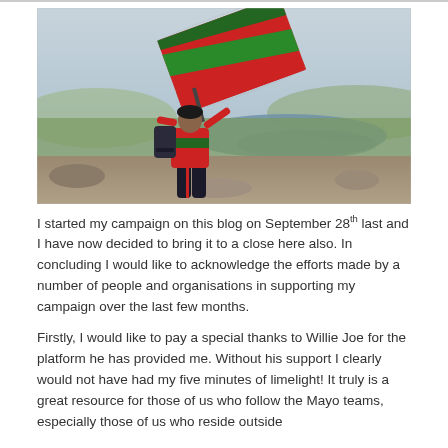[Figure (photo): A person standing on a hilltop or mountain with a backpack, holding up a large red and green flag (Mayo GAA colors), with a scenic landscape of water, green fields, and towns visible in the background under a hazy sky.]
I started my campaign on this blog on September 28th last and I have now decided to bring it to a close here also. In concluding I would like to acknowledge the efforts made by a number of people and organisations in supporting my campaign over the last few months.
Firstly, I would like to pay a special thanks to Willie Joe for the platform he has provided me. Without his support I clearly would not have had my five minutes of limelight! It truly is a great resource for those of us who follow the Mayo teams, especially those of us who reside outside